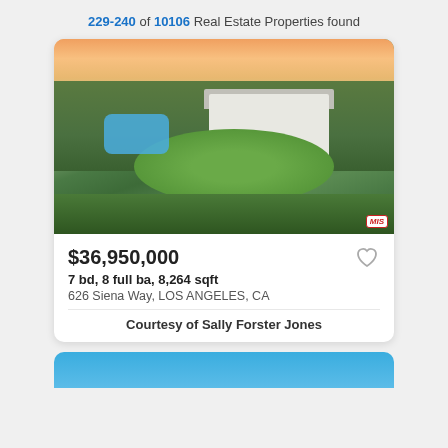229-240 of 10106 Real Estate Properties found
[Figure (photo): Aerial photo of a luxury estate at dusk with a large white house, swimming pool, green lawn surrounded by lush trees and shrubs, with an orange/pink sunset sky.]
$36,950,000
7 bd, 8 full ba, 8,264 sqft
626 Siena Way, LOS ANGELES, CA
Courtesy of Sally Forster Jones